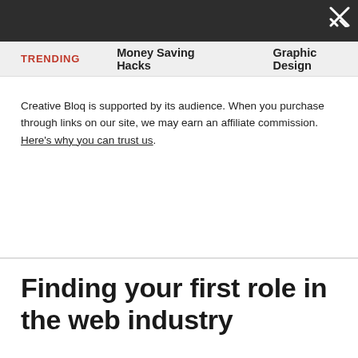TRENDING   Money Saving Hacks   Graphic Design
Creative Bloq is supported by its audience. When you purchase through links on our site, we may earn an affiliate commission. Here's why you can trust us.
Finding your first role in the web industry